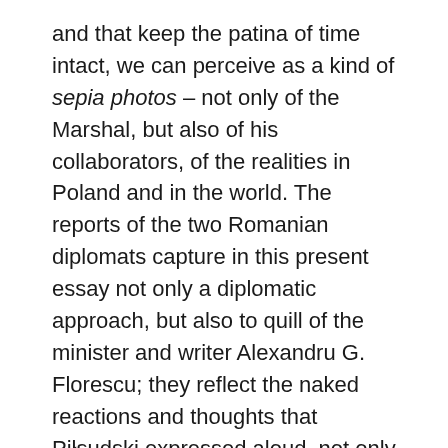and that keep the patina of time intact, we can perceive as a kind of sepia photos – not only of the Marshal, but also of his collaborators, of the realities in Poland and in the world. The reports of the two Romanian diplomats capture in this present essay not only a diplomatic approach, but also to quill of the minister and writer Alexandru G. Florescu; they reflect the naked reactions and thoughts that Piłsudski expressed aloud, not only to the interlocutor in front of him, but first of all to the Country that the envoy represented and especially to the King, mainly to the Romanian prime ministers and the military, cultural and economic authorities. We do not know to what extent historiography in other countries has provided telegrams or reports of mission heads accredited to Poland by other states, as well as